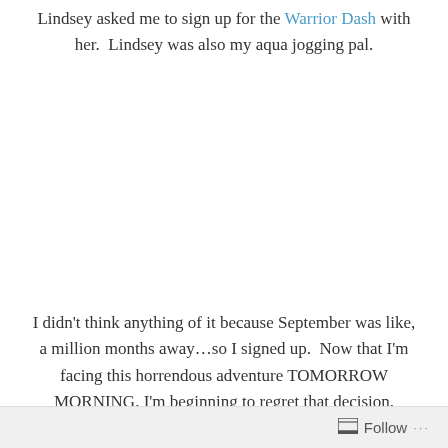Lindsey asked me to sign up for the Warrior Dash with her.  Lindsey was also my aqua jogging pal.
I didn't think anything of it because September was like, a million months away…so I signed up.  Now that I'm facing this horrendous adventure TOMORROW MORNING, I'm beginning to regret that decision.
Follow